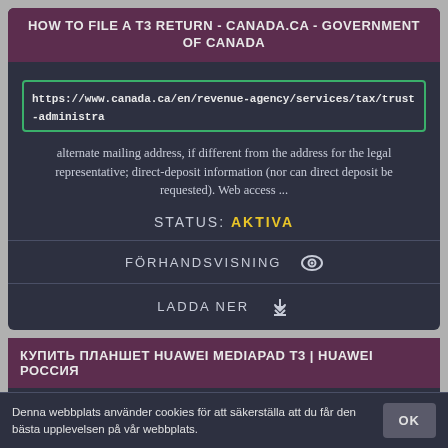HOW TO FILE A T3 RETURN - CANADA.CA - GOVERNMENT OF CANADA
https://www.canada.ca/en/revenue-agency/services/tax/trust-administra
alternate mailing address, if different from the address for the legal representative; direct-deposit information (nor can direct deposit be requested). Web access ...
STATUS: AKTIVA
FÖRHANDSVISNING
LADDA NER
КУПИТЬ ПЛАНШЕТ HUAWEI MEDIAPAD T3 | HUAWEI РОССИЯ
https://shop.huawei.ru/product/huawei-mediapad-t3-8
Denna webbplats använder cookies för att säkerställa att du får den bästa upplevelsen på vår webbplats.